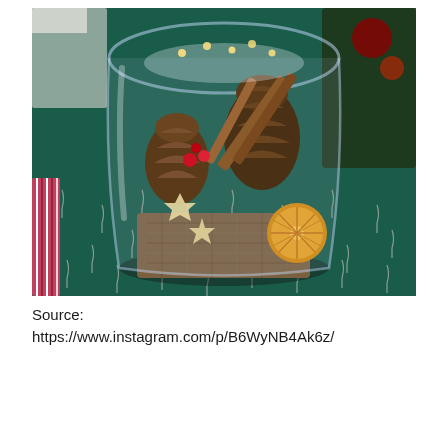[Figure (photo): A glass jar filled with Christmas decorations including pine cones, cinnamon sticks, star-shaped cookies, red berries, and a dried orange slice. The jar sits on a dark green tablecloth with white candy cane patterns. A striped ribbon is visible on the left side. A Christmas tree is partially visible in the background.]
Source:
https://www.instagram.com/p/B6WyNB4Ak6z/